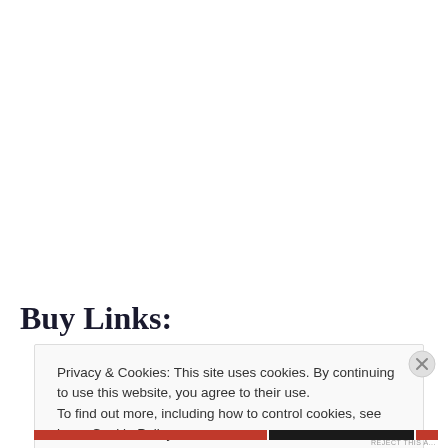Buy Links:
Privacy & Cookies: This site uses cookies. By continuing to use this website, you agree to their use.
To find out more, including how to control cookies, see here: Cookie Policy
Close and accept